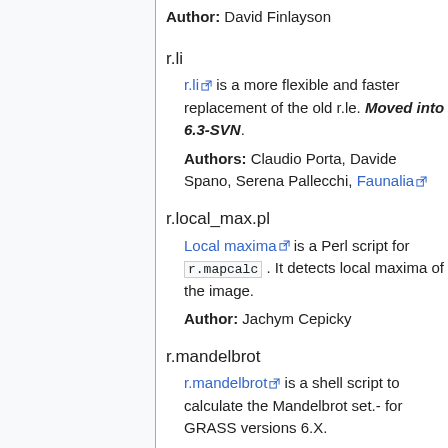Author: David Finlayson
r.li
r.li is a more flexible and faster replacement of the old r.le. Moved into 6.3-SVN.
Authors: Claudio Porta, Davide Spano, Serena Pallecchi, Faunalia
r.local_max.pl
Local maxima is a Perl script for r.mapcalc . It detects local maxima of the image.
Author: Jachym Cepicky
r.mandelbrot
r.mandelbrot is a shell script to calculate the Mandelbrot set.- for GRASS versions 6.X.
Author: Peter Löwe